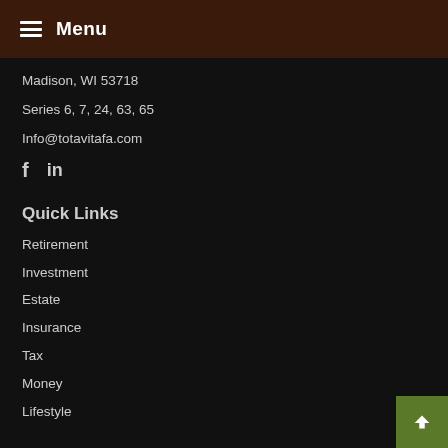Menu
Madison, WI 53718
Series 6, 7, 24, 63, 65
Info@totavitafa.com
[Figure (other): Social media icons: Facebook (f) and LinkedIn (in)]
Quick Links
Retirement
Investment
Estate
Insurance
Tax
Money
Lifestyle